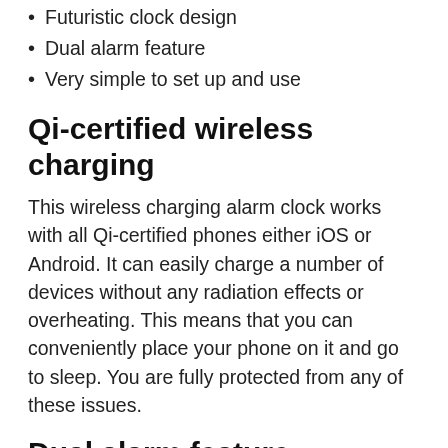Futuristic clock design
Dual alarm feature
Very simple to set up and use
Qi-certified wireless charging
This wireless charging alarm clock works with all Qi-certified phones either iOS or Android. It can easily charge a number of devices without any radiation effects or overheating. This means that you can conveniently place your phone on it and go to sleep. You are fully protected from any of these issues.
Dual alarm feature
The wireless charging alarm clock also allows